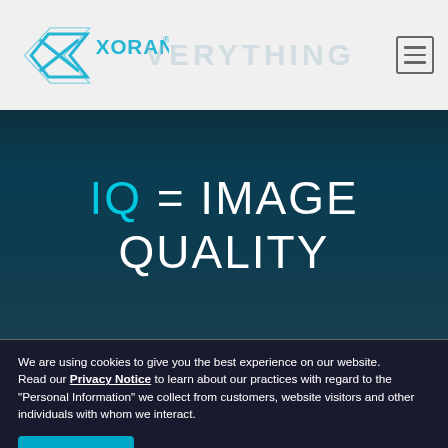XORAN — EVERYTHING
IQ = IMAGE QUALITY
We are using cookies to give you the best experience on our website.
Read our Privacy Notice to learn about our practices with regard to the "Personal Information" we collect from customers, website visitors and other individuals with whom we interact.
Continue